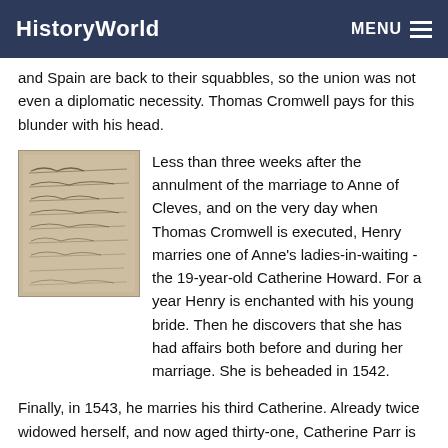HistoryWorld  MENU
and Spain are back to their squabbles, so the union was not even a diplomatic necessity. Thomas Cromwell pays for this blunder with his head.
[Figure (photo): Old handwritten manuscript page with cursive script]
Less than three weeks after the annulment of the marriage to Anne of Cleves, and on the very day when Thomas Cromwell is executed, Henry marries one of Anne's ladies-in-waiting - the 19-year-old Catherine Howard. For a year Henry is enchanted with his young bride. Then he discovers that she has had affairs both before and during her marriage. She is beheaded in 1542.
Finally, in 1543, he marries his third Catherine. Already twice widowed herself, and now aged thirty-one, Catherine Parr is an intelligent and cultivated woman who succeeds in uniting the king's family. For the remaining few years of